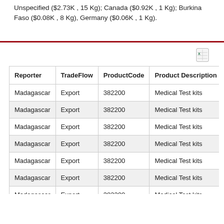Unspecified ($2.73K , 15 Kg); Canada ($0.92K , 1 Kg); Burkina Faso ($0.08K , 8 Kg), Germany ($0.06K , 1 Kg).
| Reporter | TradeFlow | ProductCode | Product Description | Year | Pa |
| --- | --- | --- | --- | --- | --- |
| Madagascar | Export | 382200 | Medical Test kits | 2019 |  |
| Madagascar | Export | 382200 | Medical Test kits | 2019 |  |
| Madagascar | Export | 382200 | Medical Test kits | 2019 |  |
| Madagascar | Export | 382200 | Medical Test kits | 2019 |  |
| Madagascar | Export | 382200 | Medical Test kits | 2019 |  |
| Madagascar | Export | 382200 | Medical Test kits | 2019 |  |
| Madagascar | Export | 382200 | Medical Test kits | 2019 |  |
| Madagascar | Export | 382200 | Medical Test kits | 2019 |  |